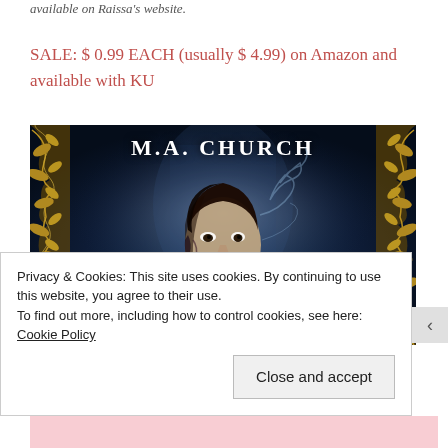available on Raissa's website.
SALE: $ 0.99 EACH (usually $ 4.99) on Amazon and available with KU
[Figure (illustration): Book cover for M.A. Church featuring a young man's face with dark hair, with ornate golden baroque frame elements on the left and right sides, dark moody blue background with ghostly and floral elements, author name M.A. CHURCH in white text at top]
Privacy & Cookies: This site uses cookies. By continuing to use this website, you agree to their use.
To find out more, including how to control cookies, see here: Cookie Policy
Close and accept